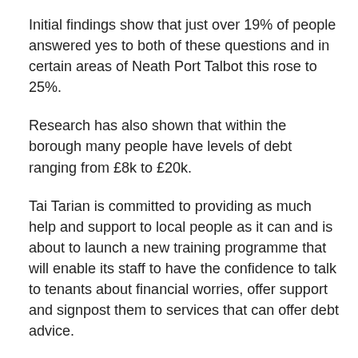Initial findings show that just over 19% of people answered yes to both of these questions and in certain areas of Neath Port Talbot this rose to 25%.
Research has also shown that within the borough many people have levels of debt ranging from £8k to £20k.
Tai Tarian is committed to providing as much help and support to local people as it can and is about to launch a new training programme that will enable its staff to have the confidence to talk to tenants about financial worries, offer support and signpost them to services that can offer debt advice.
This progress will be discussed this week at the second meeting of the Wales Affordable Credit Action group meeting which is being held at Tai Tarian headquarters and the End High Cost Credit Alliance UK meeting in Cardiff.